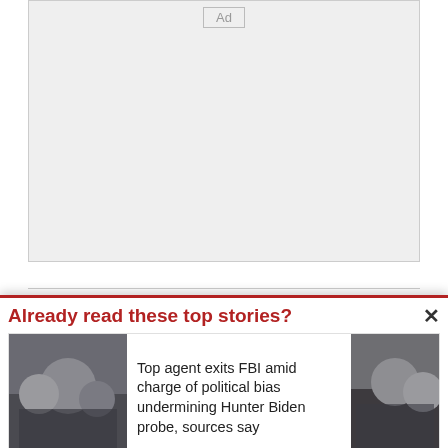[Figure (other): Advertisement placeholder box with 'Ad' label at top center]
The Trump administration has tried to head off such maneuvers by placing PDVSA’s U.S.-based assets under control of the alternative government that Mr. Guaido is trying to form.
Already read these top stories?
[Figure (photo): Photo of people outdoors, appears to show political figures]
Top agent exits FBI amid charge of political bias undermining Hunter Biden probe, sources say
[Figure (photo): Photo of people indoors, appears to show political figures]